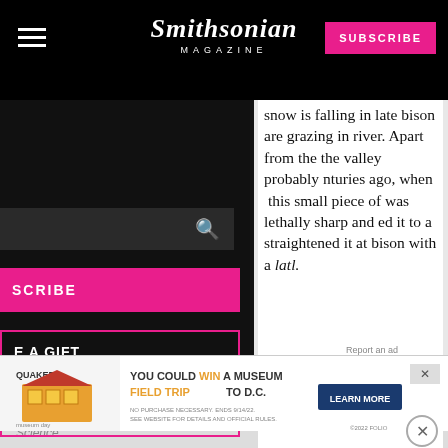Smithsonian Magazine — SUBSCRIBE
snow is falling in late bison are grazing in river. Apart from the the valley probably nturies ago, when this small piece of was lethally sharp and ed it to a straightened it at bison with a latl.
[Figure (screenshot): Left sidebar navigation with search bar, SUBSCRIBE button in pink, GIVE A GIFT outline box, and RENEW outline box on black background]
[Figure (other): Quaker advertisement banner: YOU COULD WIN A MUSEUM FIELD TRIP TO D.C. LEARN MORE]
Science
smithsonian